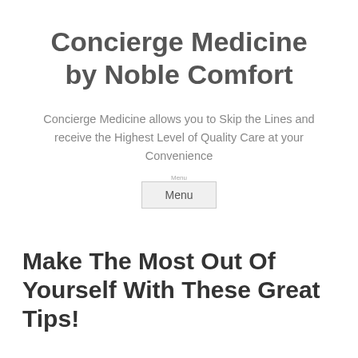Concierge Medicine by Noble Comfort
Concierge Medicine allows you to Skip the Lines and receive the Highest Level of Quality Care at your Convenience
Menu
Make The Most Out Of Yourself With These Great Tips!